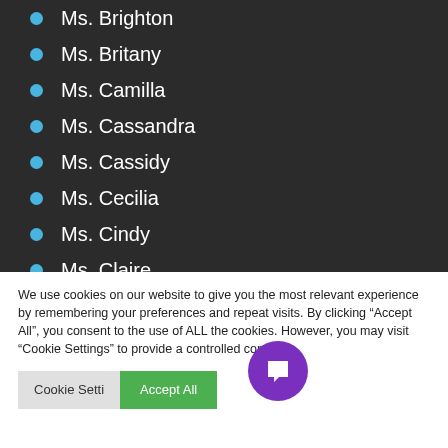Ms. Brighton
Ms. Britany
Ms. Camilla
Ms. Cassandra
Ms. Cassidy
Ms. Cecilia
Ms. Cindy
Ms. Claire
Ms. Constance
We use cookies on our website to give you the most relevant experience by remembering your preferences and repeat visits. By clicking “Accept All”, you consent to the use of ALL the cookies. However, you may visit “Cookie Settings” to provide a controlled consent.
Cookie Settings   Accept All